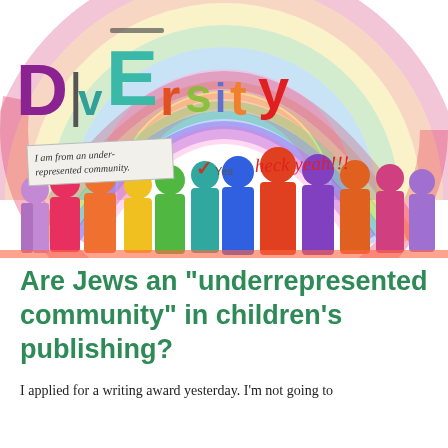[Figure (illustration): Colorful diversity-themed illustration with rainbow background, colorful silhouettes of people, and the word 'Diversity' in large multicolored letters. A checkbox banner reads 'I am from an under-represented community.' with a red checkmark next to 'Yes'. Red handwritten text says 'heck yeah!!!']
Are Jews an "underrepresented community" in children's publishing?
I applied for a writing award yesterday. I'm not going to